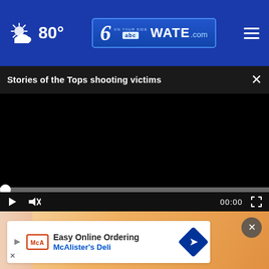80° WATE.com
Stories of the Tops shooting victims
[Figure (screenshot): Video player with black screen, progress bar at 0, play button, mute button, time display 00:00, and fullscreen button]
[Figure (screenshot): Advertisement overlay: Easy Online Ordering - McAlister's Deli with close button and arrow logo]